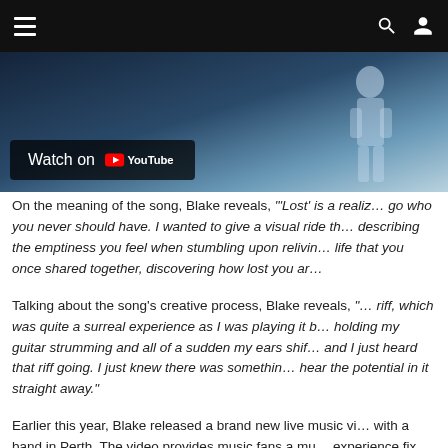Navigation bar with menu, search, and user icons
[Figure (screenshot): YouTube video embed thumbnail showing a figure in bluish light with 'Watch on YouTube' overlay button]
On the meaning of the song, Blake reveals, "'Lost' is a realiz... go who you never should have. I wanted to give a visual ride th... describing the emptiness you feel when stumbling upon relivin... life that you once shared together, discovering how lost you ar...
Talking about the song's creative process, Blake reveals, "... riff, which was quite a surreal experience as I was playing it b... holding my guitar strumming and all of a sudden my ears shif... and I just heard that riff going. I just knew there was somethin... hear the potential in it straight away."
Earlier this year, Blake released a brand new live music vi... with a band in Perth. The video provides music fans a mu... experience fix during these uncertain times. Watch the liv...